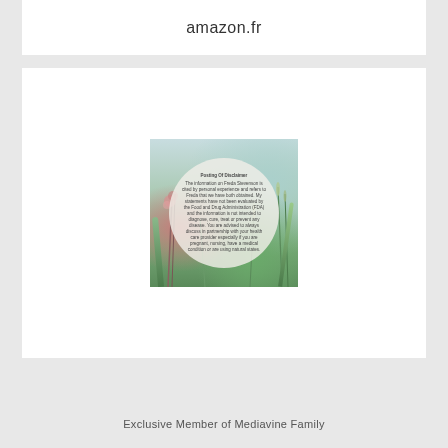amazon.fr
[Figure (photo): A nature/outdoor scene with wildflowers and grass in the background. A semi-transparent circular overlay contains a health disclaimer text about Freda Stevenson's information not being evaluated by the FDA.]
Exclusive Member of Mediavine Family